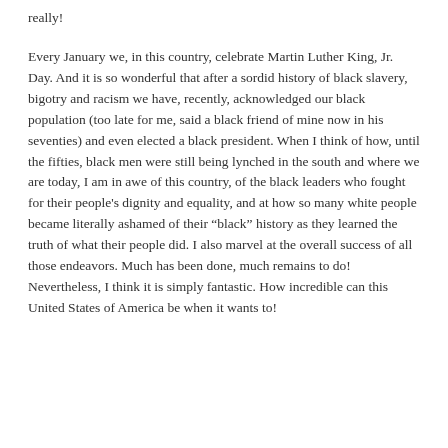really!
Every January we, in this country, celebrate Martin Luther King, Jr. Day. And it is so wonderful that after a sordid history of black slavery, bigotry and racism we have, recently, acknowledged our black population (too late for me, said a black friend of mine now in his seventies) and even elected a black president. When I think of how, until the fifties, black men were still being lynched in the south and where we are today, I am in awe of this country, of the black leaders who fought for their people's dignity and equality, and at how so many white people became literally ashamed of their "black" history as they learned the truth of what their people did. I also marvel at the overall success of all those endeavors. Much has been done, much remains to do! Nevertheless, I think it is simply fantastic. How incredible can this United States of America be when it wants to!